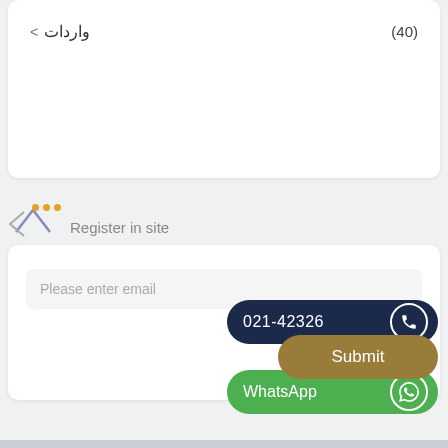واردات (40)
Register in site
Please enter email
[Figure (screenshot): Phone call button showing 021-42326 with phone icon on dark navy background]
[Figure (screenshot): Submit button with golden/brown background]
[Figure (screenshot): WhatsApp button with green background and WhatsApp icon]